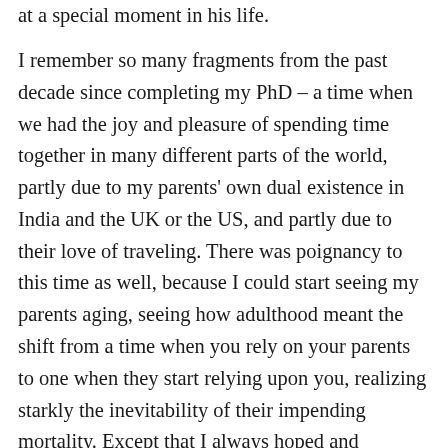at a special moment in his life.

I remember so many fragments from the past decade since completing my PhD – a time when we had the joy and pleasure of spending time together in many different parts of the world, partly due to my parents' own dual existence in India and the UK or the US, and partly due to their love of traveling. There was poignancy to this time as well, because I could start seeing my parents aging, seeing how adulthood meant the shift from a time when you rely on your parents to one when they start relying upon you, realizing starkly the inevitability of their impending mortality. Except that I always hoped and expected that mortality to be in the future, to be infinitely deferred. One of the things that I did realize these past few years – and I am so glad that I did – was that time spent with my parents was not to be taken for